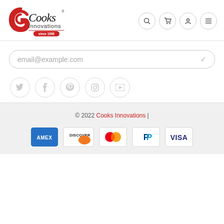[Figure (logo): Cooks Innovations logo with red swirl, cursive Cooks text, innovations text, and since 1998 red badge]
[Figure (screenshot): Navigation icons: search, cart, account, menu (hamburger), all in circular bordered buttons]
email@example.com
[Figure (infographic): Social media icons: Twitter, Facebook, Pinterest, Instagram, YouTube in circular bordered buttons]
© 2022 Cooks Innovations |
[Figure (infographic): Payment icons: AMEX, DISCOVER, Mastercard, PayPal, VISA]